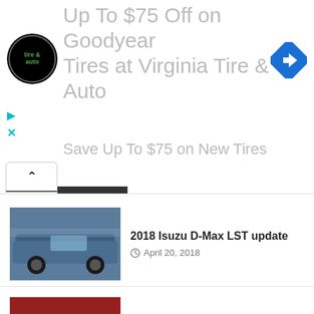[Figure (screenshot): Advertisement banner for Virginia Tire & Auto showing Goodyear tire promotion with logo, navigation icon, and partial text 'Up To $75 Off on Goodyear Tires at Virginia Tire & Auto' and 'Save Up To $75 on New Tires']
2018 Isuzu D-Max LST update — April 20, 2018
2018 Nissan Navara Launch Review — February 28, 2018
KEEP IN TOUCH
Join for regular updates.